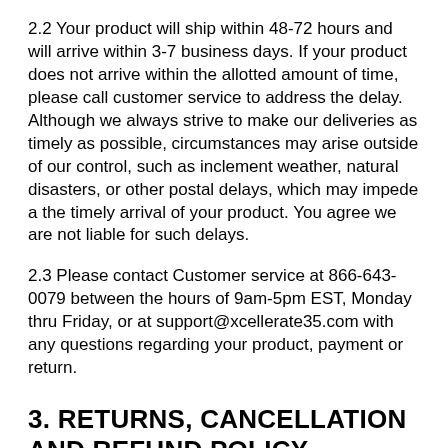2.2 Your product will ship within 48-72 hours and will arrive within 3-7 business days. If your product does not arrive within the allotted amount of time, please call customer service to address the delay. Although we always strive to make our deliveries as timely as possible, circumstances may arise outside of our control, such as inclement weather, natural disasters, or other postal delays, which may impede a the timely arrival of your product. You agree we are not liable for such delays.
2.3 Please contact Customer service at 866-643-0079 between the hours of 9am-5pm EST, Monday thru Friday, or at support@xcellerate35.com with any questions regarding your product, payment or return.
3. RETURNS, CANCELLATION AND REFUND POLICY
3.1 REFUND POLICY. You must call Customer Service at US TOLL FREE 866-643-0079 before any arrangements will be